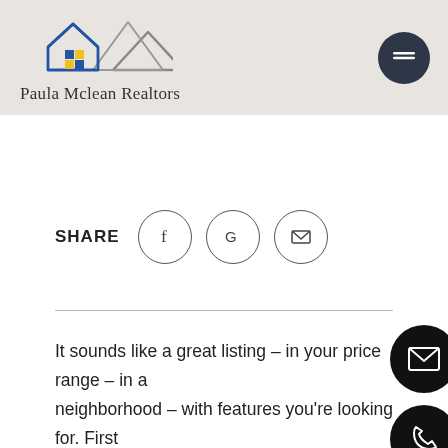[Figure (logo): Paula Mclean Realtors logo with mountain/house icon in blue and gray]
SHARE
It sounds like a great listing – in your price range – in a good neighborhood – with features you're looking for. First impressions mean a lot – but you find the bushes are overgrown, the front hallway is covered with tacky foil wallpaper, the kitchen cabinets are painted dark brown, the